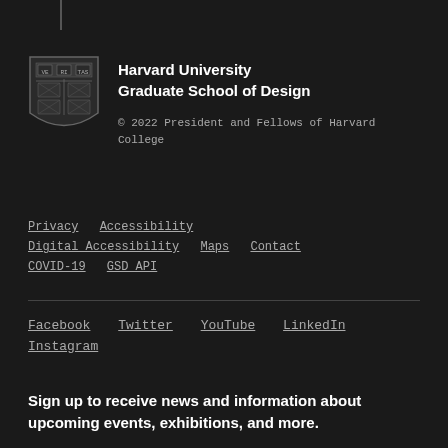[Figure (logo): Harvard University shield/crest logo in grayscale]
Harvard University Graduate School of Design
© 2022 President and Fellows of Harvard College
Privacy   Accessibility
Digital Accessibility   Maps   Contact
COVID-19   GSD API
Facebook   Twitter   YouTube   LinkedIn
Instagram
Sign up to receive news and information about upcoming events, exhibitions, and more.